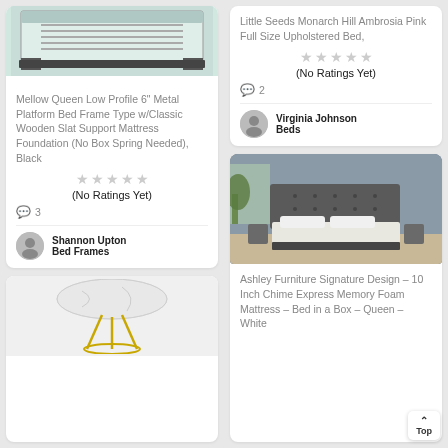[Figure (photo): Metal platform bed frame product image (top portion visible), black frame with wooden slat support]
Mellow Queen Low Profile 6" Metal Platform Bed Frame Type w/Classic Wooden Slat Support Mattress Foundation (No Box Spring Needed), Black
[Figure (other): 5 grey star rating icons (no ratings yet)]
(No Ratings Yet)
3
Shannon Upton
Bed Frames
[Figure (photo): Round marble-top gold leg side table (bottom portion of card)]
Little Seeds Monarch Hill Ambrosia Pink Full Size Upholstered Bed,
[Figure (other): 5 grey star rating icons (no ratings yet)]
(No Ratings Yet)
2
Virginia Johnson
Beds
[Figure (photo): Bedroom scene with dark grey upholstered bed, grey walls, white bedding, side tables, and plant]
Ashley Furniture Signature Design – 10 Inch Chime Express Memory Foam Mattress – Bed in a Box – Queen – White